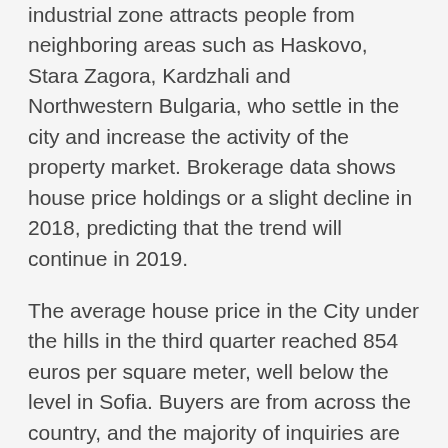industrial zone attracts people from neighboring areas such as Haskovo, Stara Zagora, Kardzhali and Northwestern Bulgaria, who settle in the city and increase the activity of the property market. Brokerage data shows house price holdings or a slight decline in 2018, predicting that the trend will continue in 2019.
The average house price in the City under the hills in the third quarter reached 854 euros per square meter, well below the level in Sofia. Buyers are from across the country, and the majority of inquiries are for three-bedroom apartments, brokers report. More and more people in Plovdiv are investing in properties for short-term letting, which, according to real estate agencies, is due to the tourist flow to the city, which will be the European Capital of Culture in 2019.